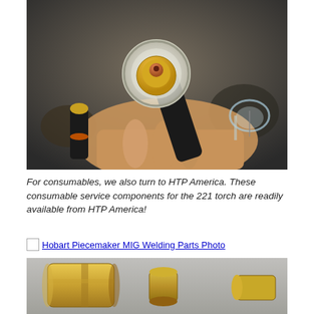[Figure (photo): Close-up photo of a TIG welding torch head being held in a hand, showing a white ceramic cup, gold-colored gas lens body, and copper contact tip. Two additional torch components are visible in the background — a black body with gold fitting and an orange O-ring on the left, and a glass cup on the right.]
For consumables, we also turn to HTP America.  These consumable service components for the 221 torch are readily available from HTP America!
[Figure (photo): Hobart Piecemaker MIG Welding Parts Photo — linked image placeholder showing MIG welding consumable parts]
[Figure (photo): Partial photo of Hobart Piecemaker MIG welding parts laid on a gray surface, showing brass/gold colored nozzle and contact tip components.]